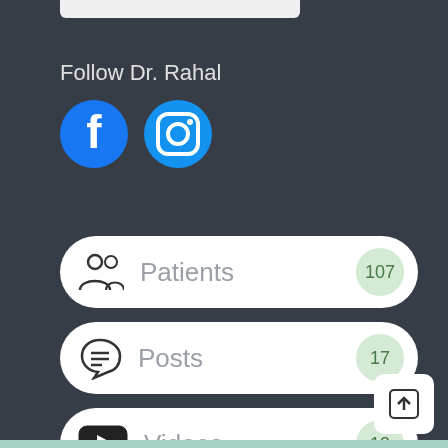Follow Dr. Rahal
[Figure (illustration): Facebook and Instagram social media icons in blue]
Patients 107
Posts 17
Videos 13